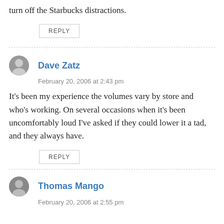turn off the Starbucks distractions.
REPLY
Dave Zatz
February 20, 2006 at 2:43 pm
It's been my experience the volumes vary by store and who's working. On several occasions when it's been uncomfortably loud I've asked if they could lower it a tad, and they always have.
REPLY
Thomas Mango
February 20, 2006 at 2:55 pm